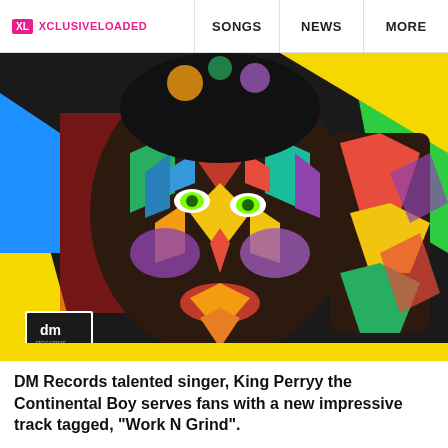XL XCLUSIVELOADED | SONGS | NEWS | MORE
[Figure (photo): Close-up portrait of a person with colorful geometric face paint/body art in vivid reds, greens, blues, yellows, and purples on dark skin, with a DM Records logo in the lower left corner, against a bright abstract background.]
DM Records talented singer, King Perryy the Continental Boy serves fans with a new impressive track tagged, “Work N Grind”.